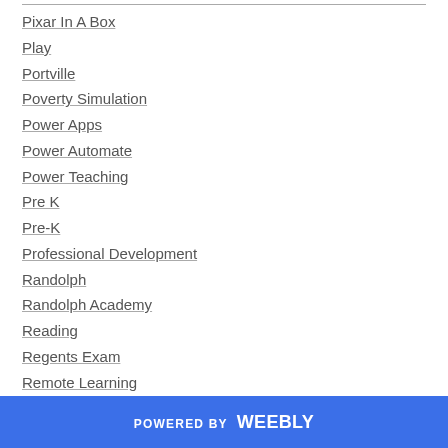Pixar In A Box
Play
Portville
Poverty Simulation
Power Apps
Power Automate
Power Teaching
Pre K
Pre-K
Professional Development
Randolph
Randolph Academy
Reading
Regents Exam
Remote Learning
Resilience
Restorative Circles
POWERED BY weebly